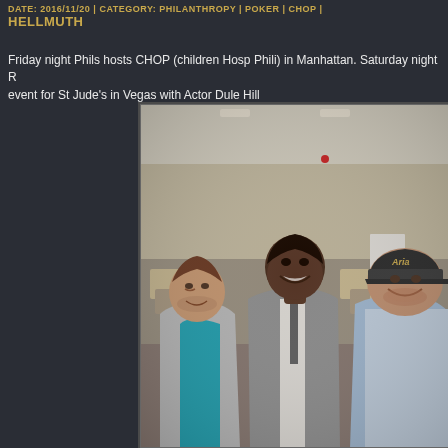DATE: 2016/11/20 | CATEGORY: PHILANTHROPY | POKER | CHOP | HELLMUTH
Friday night Phils hosts CHOP (children Hosp Phili) in Manhattan. Saturday night R event for St Jude's in Vegas with Actor Dule Hill
[Figure (photo): Three men standing together smiling in what appears to be a casino or event ballroom. Left person wears a teal polo shirt and sport coat. Center person is a tall Black man in a gray suit. Right person wears an Aria casino cap and light blue shirt.]